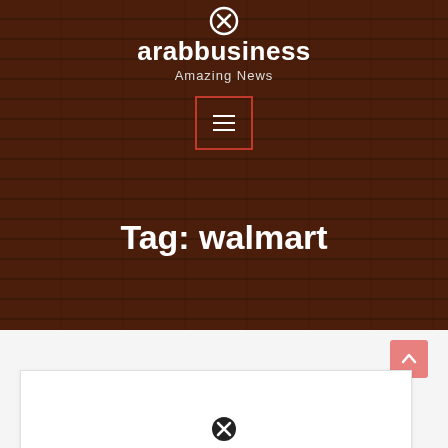[Figure (screenshot): Wood-textured dark brown header background for arabbusiness website]
arabbusiness
Amazing News
[Figure (other): Red-bordered hamburger menu button with three white lines]
Tag: walmart
[Figure (other): Pink scroll-to-top button with upward arrow]
[Figure (other): White card area at bottom with close icon]